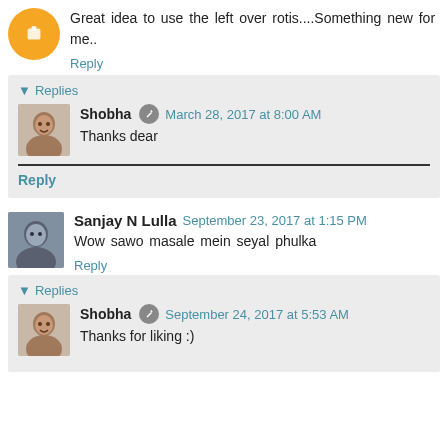Great idea to use the left over rotis....Something new for me..
Reply
Replies
Shobha March 28, 2017 at 8:00 AM
Thanks dear
Reply
Sanjay N Lulla September 23, 2017 at 1:15 PM
Wow sawo masale mein seyal phulka
Reply
Replies
Shobha September 24, 2017 at 5:53 AM
Thanks for liking :)